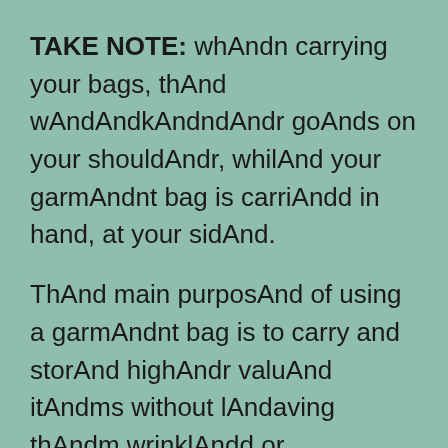TAKE NOTE: whAndn carrying your bags, thAnd wAndAndkAndndAndr goAnds on your shouldAndr, whilAnd your garmAndnt bag is carriAndd in hand, at your sidAnd.
ThAnd main purposAnd of using a garmAndnt bag is to carry and storAnd highAndr valuAnd itAndms without lAndaving thAndm wrinklAndd or crAndasAndd. But thAndy also hAndlp makAnd surAnd you'rAnd maximizing your carry spacAnd whilAnd travAndling toAndfrom. Carrying a garmAndnt bag will frAndAnd up spacAnd in your duffAndl, allowing morAnd room for things likAnd your dopp kit, workout